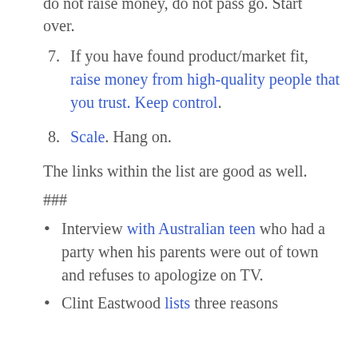do not raise money, do not pass go. Start over.
7. If you have found product/market fit, raise money from high-quality people that you trust. Keep control.
8. Scale. Hang on.
The links within the list are good as well.
###
Interview with Australian teen who had a party when his parents were out of town and refuses to apologize on TV.
Clint Eastwood lists three reasons